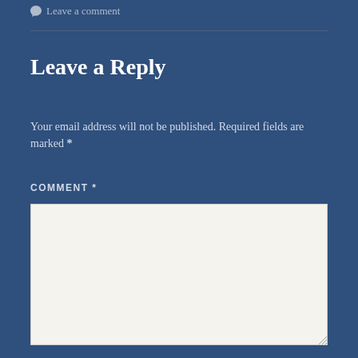Leave a comment
Leave a Reply
Your email address will not be published. Required fields are marked *
COMMENT *
[Figure (other): Empty comment textarea input box]